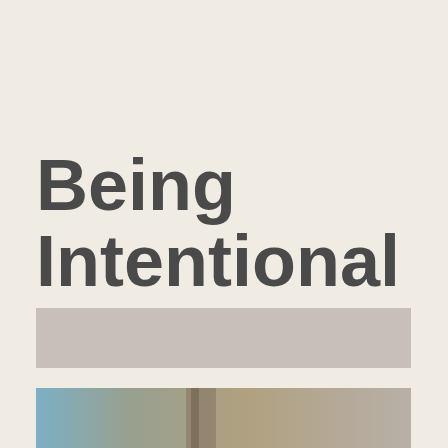Being Intentional
[Figure (photo): A tan/beige horizontal bar block]
[Figure (photo): Bottom portion of a photograph showing what appears to be architectural or outdoor elements with blue and neutral tones]